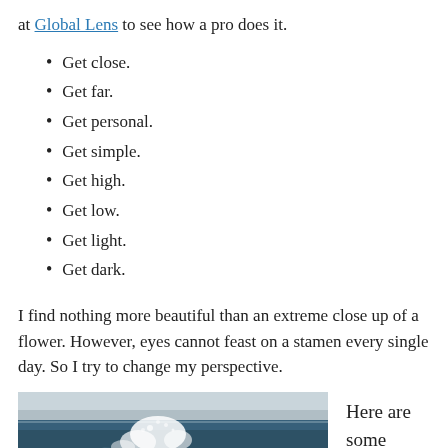at Global Lens to see how a pro does it.
Get close.
Get far.
Get personal.
Get simple.
Get high.
Get low.
Get light.
Get dark.
I find nothing more beautiful than an extreme close up of a flower. However, eyes cannot feast on a stamen every single day. So I try to change my perspective.
[Figure (photo): Ocean waves with white sea spray against a grey-blue sea and sky]
Here are some